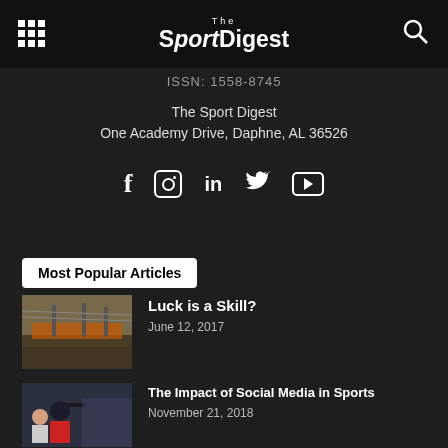The Sport Digest
ISSN: 1558-7401
The Sport Digest
One Academy Drive, Daphne, AL 36526
[Figure (infographic): Social media icons: Facebook, Instagram, LinkedIn, Twitter, YouTube]
Most Popular Articles
[Figure (photo): Thumbnail image of orange construction fencing and power lines]
Luck is a Skill?
June 12, 2017
[Figure (photo): Thumbnail image of a man and woman at a sports event]
The Impact of Social Media in Sports
November 21, 2018